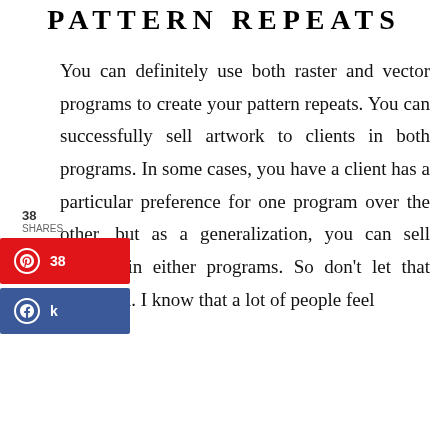PATTERN REPEATS
You can definitely use both raster and vector programs to create your pattern repeats. You can successfully sell artwork to clients in both programs. In some cases, you have a client has a particular preference for one program over the other, but as a generalization, you can sell designs in either programs. So don't let that deter you. I know that a lot of people feel
[Figure (infographic): Social share widget showing 38 shares, with a red Pinterest button showing 38 shares and a blue Facebook share button]